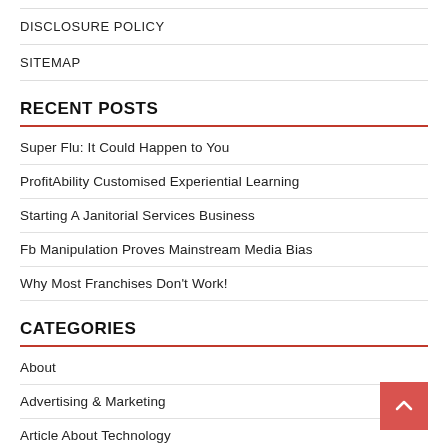DISCLOSURE POLICY
SITEMAP
RECENT POSTS
Super Flu: It Could Happen to You
ProfitAbility Customised Experiential Learning
Starting A Janitorial Services Business
Fb Manipulation Proves Mainstream Media Bias
Why Most Franchises Don't Work!
CATEGORIES
About
Advertising & Marketing
Article About Technology